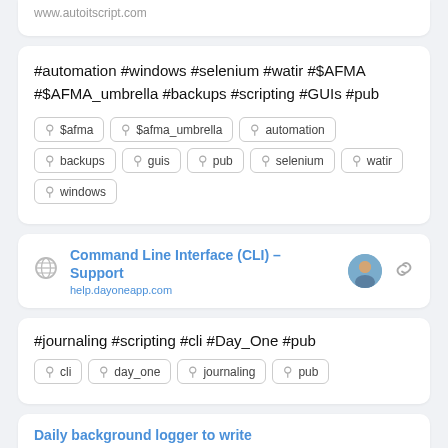www.autoitscript.com
#automation #windows #selenium #watir #$AFMA #$AFMA_umbrella #backups #scripting #GUIs #pub
$afma
$afma_umbrella
automation
backups
guis
pub
selenium
watir
windows
Command Line Interface (CLI) – Support
help.dayoneapp.com
#journaling #scripting #cli #Day_One #pub
cli
day_one
journaling
pub
Daily background logger to write